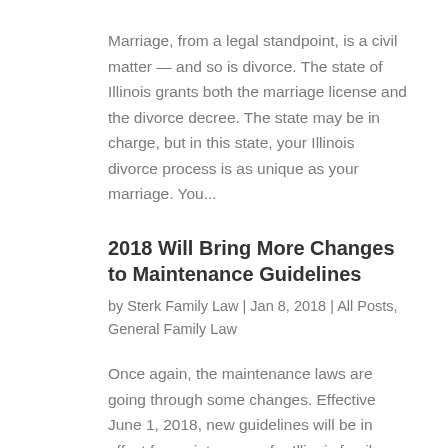Marriage, from a legal standpoint, is a civil matter — and so is divorce. The state of Illinois grants both the marriage license and the divorce decree. The state may be in charge, but in this state, your Illinois divorce process is as unique as your marriage. You...
2018 Will Bring More Changes to Maintenance Guidelines
by Sterk Family Law | Jan 8, 2018 | All Posts, General Family Law
Once again, the maintenance laws are going through some changes. Effective June 1, 2018, new guidelines will be in effect for maintenance  for Illinois family law. This change affects not only the maximum gross income ceiling for guideline maintenance, but also the...